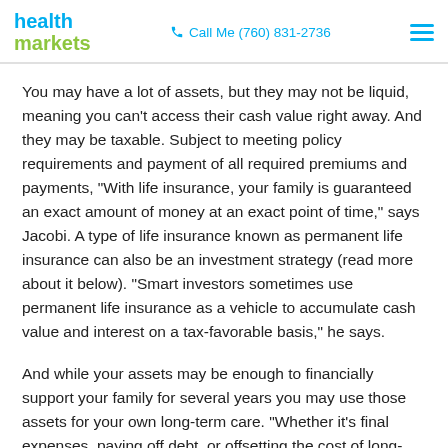health markets | Call Me (760) 831-2736
You may have a lot of assets, but they may not be liquid, meaning you can't access their cash value right away. And they may be taxable. Subject to meeting policy requirements and payment of all required premiums and payments, “With life insurance, your family is guaranteed an exact amount of money at an exact point of time,” says Jacobi. A type of life insurance known as permanent life insurance can also be an investment strategy (read more about it below). “Smart investors sometimes use permanent life insurance as a vehicle to accumulate cash value and interest on a tax-favorable basis,” he says.
And while your assets may be enough to financially support your family for several years you may use those assets for your own long-term care. “Whether it’s final expenses, paying off debt, or offsetting the cost of long-term care needs, there are many reasons that folks might